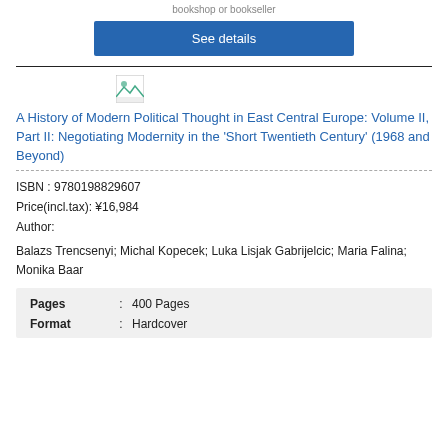bookshop or bookseller
See details
[Figure (illustration): Small broken image placeholder icon for book cover]
A History of Modern Political Thought in East Central Europe: Volume II, Part II: Negotiating Modernity in the 'Short Twentieth Century' (1968 and Beyond)
ISBN : 9780198829607
Price(incl.tax): ¥16,984
Author:
Balazs Trencsenyi; Michal Kopecek; Luka Lisjak Gabrijelcic; Maria Falina; Monika Baar
| Field | : | Value |
| --- | --- | --- |
| Pages | : | 400 Pages |
| Format | : | Hardcover |